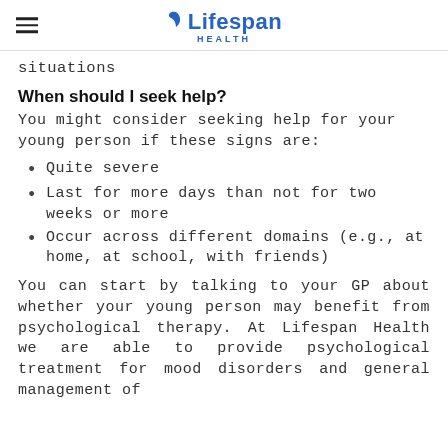Lifespan Health
situations
When should I seek help?
You might consider seeking help for your young person if these signs are:
Quite severe
Last for more days than not for two weeks or more
Occur across different domains (e.g., at home, at school, with friends)
You can start by talking to your GP about whether your young person may benefit from psychological therapy. At Lifespan Health we are able to provide psychological treatment for mood disorders and general management of